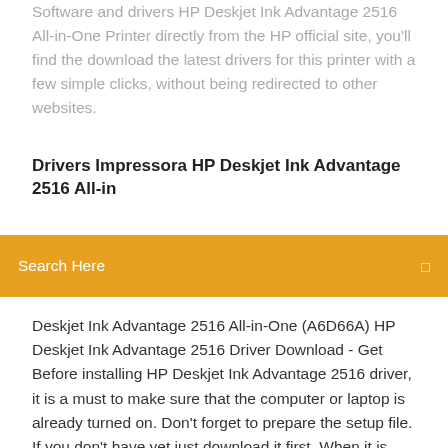Software and drivers HP Deskjet Ink Advantage 2516 All-in-One Printer directly from the HP official site, you'll find the download the latest drivers for this printer with a few simple clicks, without being redirected to other websites.
Drivers Impressora HP Deskjet Ink Advantage 2516 All-in
Search Here
Deskjet Ink Advantage 2516 All-in-One (A6D66A) HP Deskjet Ink Advantage 2516 Driver Download - Get Before installing HP Deskjet Ink Advantage 2516 driver, it is a must to make sure that the computer or laptop is already turned on. Don't forget to prepare the setup file. If you don't have yet just download it first. When it is ready, you can start to launch the setup file to open the installation wizard. HP Deskjet Ink Advantage 2516 többfunkciós nyomtató A legújabb illesztőprogramok, firmware-ek és szoftverek letöltése HP Deskjet Ink Advantage 2516